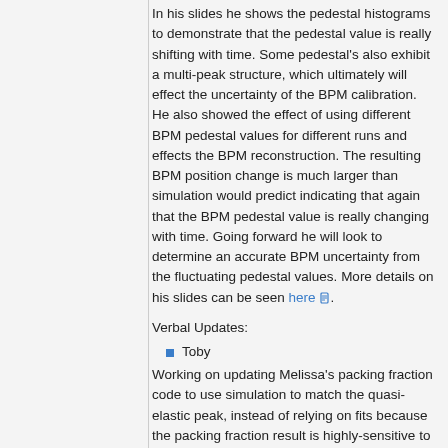In his slides he shows the pedestal histograms to demonstrate that the pedestal value is really shifting with time. Some pedestal's also exhibit a multi-peak structure, which ultimately will effect the uncertainty of the BPM calibration. He also showed the effect of using different BPM pedestal values for different runs and effects the BPM reconstruction. The resulting BPM position change is much larger than simulation would predict indicating that again that the BPM pedestal value is really changing with time. Going forward he will look to determine an accurate BPM uncertainty from the fluctuating pedestal values. More details on his slides can be seen here .
Verbal Updates:
Toby
Working on updating Melissa's packing fraction code to use simulation to match the quasi-elastic peak, instead of relying on fits because the packing fraction result is highly-sensitive to the fit parameters.